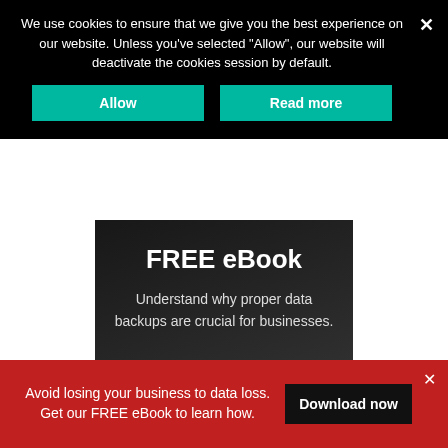We use cookies to ensure that we give you the best experience on our website. Unless you've selected "Allow", our website will deactivate the cookies session by default.
Allow
Read more
FREE eBook
Understand why proper data backups are crucial for businesses.
LEARN NOW
Avoid losing your business to data loss. Get our FREE eBook to learn how.
Download now